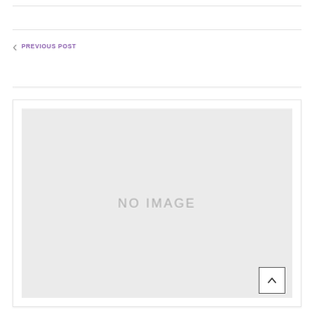PREVIOUS POST
[Figure (other): Placeholder image box with text 'NO IMAGE' centered on a light gray background]
^